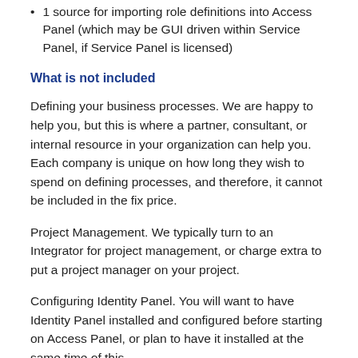1 source for importing role definitions into Access Panel (which may be GUI driven within Service Panel, if Service Panel is licensed)
What is not included
Defining your business processes. We are happy to help you, but this is where a partner, consultant, or internal resource in your organization can help you. Each company is unique on how long they wish to spend on defining processes, and therefore, it cannot be included in the fix price.
Project Management. We typically turn to an Integrator for project management, or charge extra to put a project manager on your project.
Configuring Identity Panel. You will want to have Identity Panel installed and configured before starting on Access Panel, or plan to have it installed at the same time of this